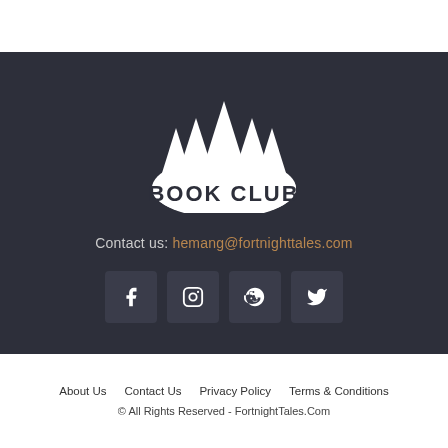[Figure (logo): Book Club logo with pine trees silhouette and text BOOK CLUB on white moon/circle background]
Contact us: hemang@fortnighttales.com
[Figure (infographic): Social media icons: Facebook, Instagram, Reddit, Twitter in dark rounded square boxes]
About Us   Contact Us   Privacy Policy   Terms & Conditions
© All Rights Reserved - FortnightTales.Com